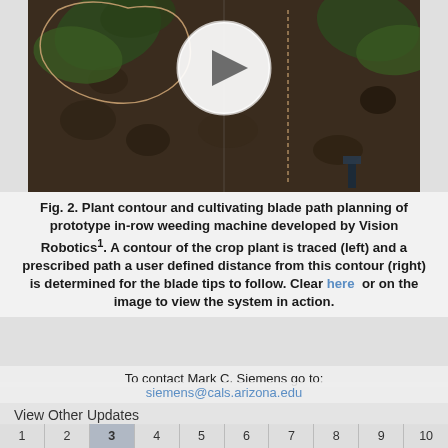[Figure (photo): Video thumbnail showing a crop plant with a contour outline traced around it and a cultivating blade path, on soil background, with a white play button overlay.]
Fig. 2. Plant contour and cultivating blade path planning of prototype in-row weeding machine developed by Vision Robotics1. A contour of the crop plant is traced (left) and a prescribed path a user defined distance from this contour (right) is determined for the blade tips to follow. Clear here or on the image to view the system in action.
To contact Mark C. Siemens go to:
siemens@cals.arizona.edu
View Other Updates
1
2
3
4
5
6
7
8
9
10